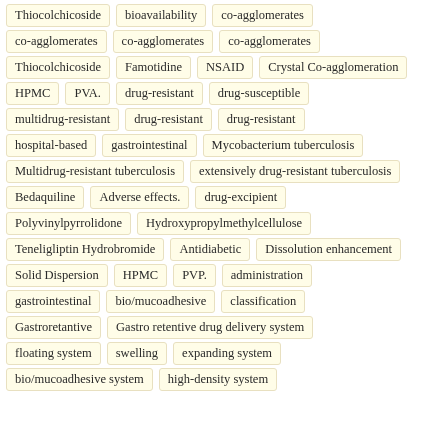Thiocolchicoside
bioavailability
co-agglomerates
co-agglomerates
co-agglomerates
co-agglomerates
Thiocolchicoside
Famotidine
NSAID
Crystal Co-agglomeration
HPMC
PVA.
drug-resistant
drug-susceptible
multidrug-resistant
drug-resistant
drug-resistant
hospital-based
gastrointestinal
Mycobacterium tuberculosis
Multidrug-resistant tuberculosis
extensively drug-resistant tuberculosis
Bedaquiline
Adverse effects.
drug-excipient
Polyvinylpyrrolidone
Hydroxypropylmethylcellulose
Teneligliptin Hydrobromide
Antidiabetic
Dissolution enhancement
Solid Dispersion
HPMC
PVP.
administration
gastrointestinal
bio/mucoadhesive
classification
Gastroretantive
Gastro retentive drug delivery system
floating system
swelling
expanding system
bio/mucoadhesive system
high-density system